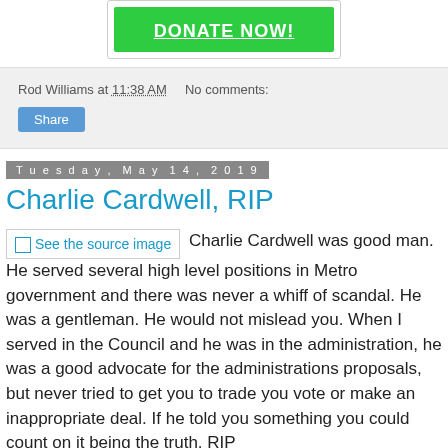[Figure (other): Green DONATE NOW! button inside a bordered box]
Rod Williams at 11:38 AM   No comments:
[Figure (other): Blue Share button]
Tuesday, May 14, 2019
Charlie Cardwell, RIP
See the source image  Charlie Cardwell was good man. He served several high level positions in Metro government and there was never a whiff of scandal. He was a gentleman. He would not mislead you. When I served in the Council and he was in the administration, he was a good advocate for the administrations proposals, but never tried to get you to trade you vote or make an inappropriate deal. If he told you something you could count on it being the truth. RIP